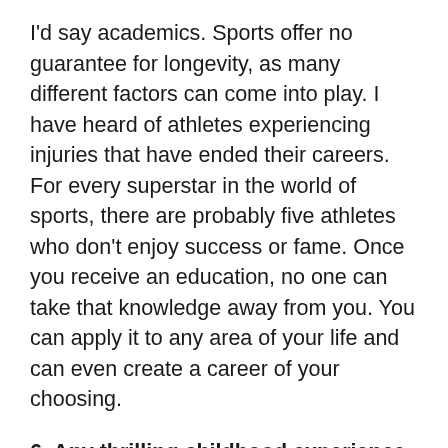I'd say academics. Sports offer no guarantee for longevity, as many different factors can come into play. I have heard of athletes experiencing injuries that have ended their careers. For every superstar in the world of sports, there are probably five athletes who don't enjoy success or fame. Once you receive an education, no one can take that knowledge away from you. You can apply it to any area of your life and can even create a career of your choosing.
6. Any thrilling childhood experience that you had with your friends or family, maybe an adventure or a memorable trip? If yes, then please share!